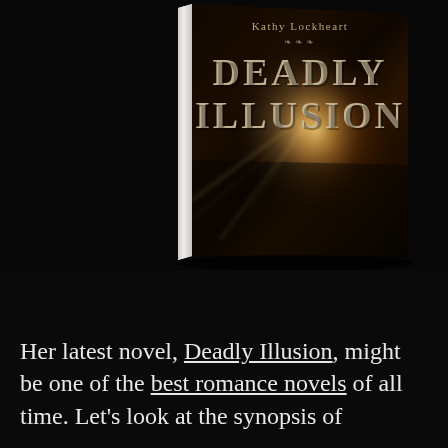[Figure (illustration): 3D book cover of 'Deadly Illusion' by Kathy Lockheart, showing a dark cover with glowing golden light emanating from hands, dramatic fantasy/romance imagery, with a white spine visible on the left side of the angled book]
Her latest novel, Deadly Illusion, might be one of the best romance novels of all time. Let's look at the synopsis of